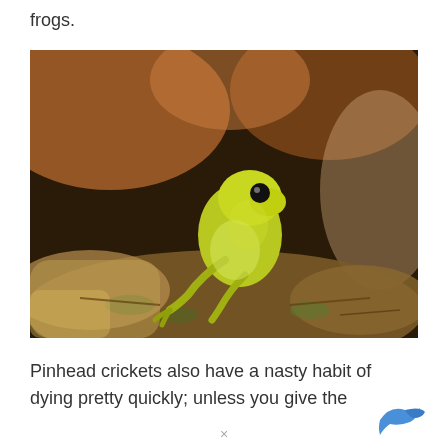frogs.
[Figure (photo): A small yellow-green frog (poison dart frog) sitting on mossy, earthy ground with blurred orange and brown background.]
Pinhead crickets also have a nasty habit of dying pretty quickly; unless you give the